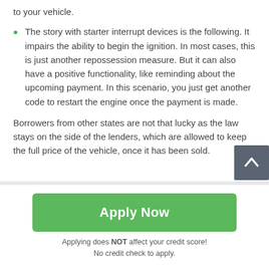to your vehicle.
The story with starter interrupt devices is the following. It impairs the ability to begin the ignition. In most cases, this is just another repossession measure. But it can also have a positive functionality, like reminding about the upcoming payment. In this scenario, you just get another code to restart the engine once the payment is made.
Borrowers from other states are not that lucky as the law stays on the side of the lenders, which are allowed to keep the full price of the vehicle, once it has been sold.
Apply Now
Applying does NOT affect your credit score!
No credit check to apply.